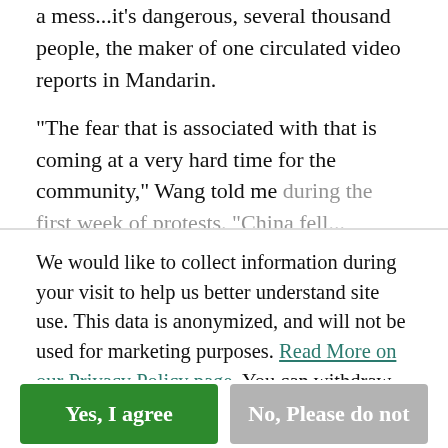a mess...it's dangerous, several thousand people, the maker of one circulated video reports in Mandarin.
“The fear that is associated with that is coming at a very hard time for the community,” Wang told me during the first week of protests. “China fell...
We would like to collect information during your visit to help us better understand site use. This data is anonymized, and will not be used for marketing purposes. Read More on our Privacy Policy page. You can withdraw permission at any time or update your privacy settings here. Please choose below to continue.
Yes, I agree
No, Please do not